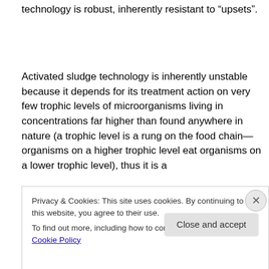technology is robust, inherently resistant to “upsets”.
Activated sludge technology is inherently unstable because it depends for its treatment action on very few trophic levels of microorganisms living in concentrations far higher than found anywhere in nature (a trophic level is a rung on the food chain—organisms on a higher trophic level eat organisms on a lower trophic level), thus it is a
Privacy & Cookies: This site uses cookies. By continuing to use this website, you agree to their use.
To find out more, including how to control cookies, see here: Cookie Policy
Close and accept